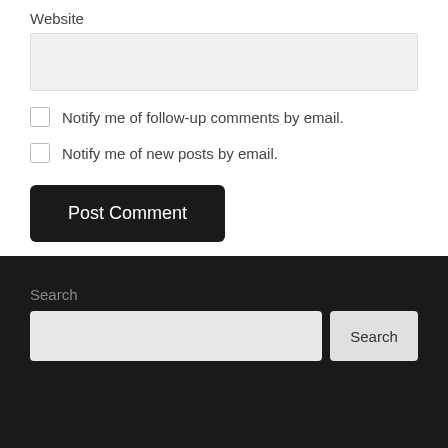Website
[Figure (screenshot): A light gray text input field for the Website form field]
Notify me of follow-up comments by email.
Notify me of new posts by email.
Post Comment
Search
[Figure (screenshot): Search input field with a Search button on dark background footer]